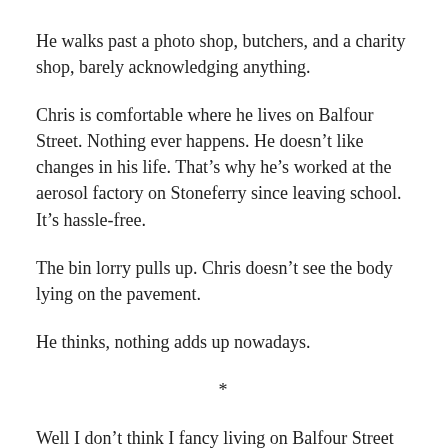He walks past a photo shop, butchers, and a charity shop, barely acknowledging anything.
Chris is comfortable where he lives on Balfour Street. Nothing ever happens. He doesn’t like changes in his life. That’s why he’s worked at the aerosol factory on Stoneferry since leaving school. It’s hassle-free.
The bin lorry pulls up. Chris doesn’t see the body lying on the pavement.
He thinks, nothing adds up nowadays.
*
Well I don’t think I fancy living on Balfour Street where